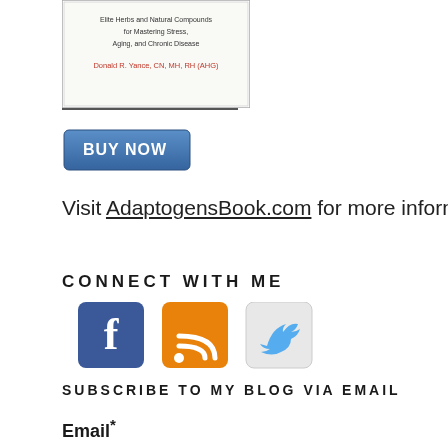[Figure (illustration): Book cover image for an adaptogen/herbal medicine book by Donald R. Yance, CN, MH, RH (AHG), with subtitle text about Elite Herbs and Natural Compounds for Mastering Stress, Aging, and Chronic Disease]
[Figure (other): A blue rounded rectangle 'BUY NOW' button]
Visit AdaptogensBook.com for more information.
CONNECT WITH ME
[Figure (infographic): Social media icons: Facebook (blue square with white F), RSS feed (orange square with white RSS symbol), Twitter (light blue square with white bird logo)]
SUBSCRIBE TO MY BLOG VIA EMAIL
Email*